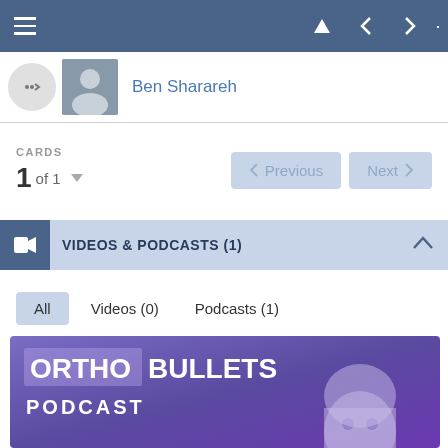Navigation bar with hamburger menu and back/forward controls
Ben Sharareh
CARDS
1 of 1
Previous   Next
VIDEOS & PODCASTS (1)
All   Videos (0)   Podcasts (1)
[Figure (logo): OrthoBullets Podcast logo on purple gradient background with ghost mascot illustration]